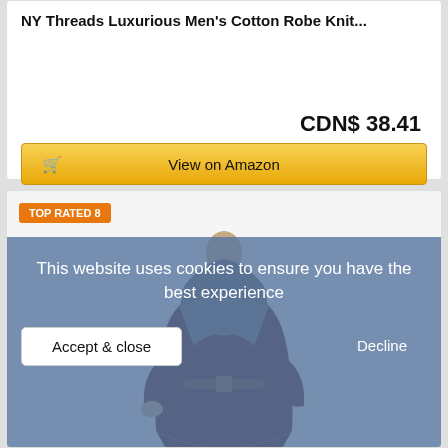NY Threads Luxurious Men's Cotton Robe Knit...
CDN$ 38.41
View on Amazon
TOP RATED 8
[Figure (photo): Person wearing a dark brown/maroon hooded robe with grey trim, belted at waist, full length view]
This website uses cookies to ensure you have the best experience
Accept & close
Decline